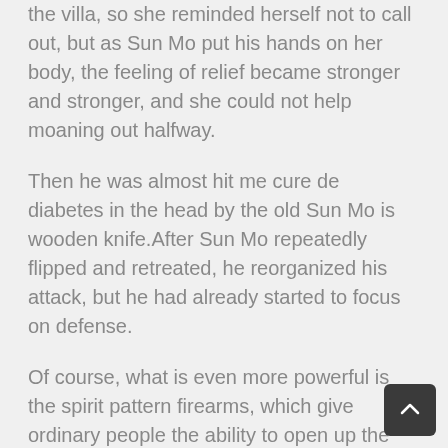the villa, so she reminded herself not to call out, but as Sun Mo put his hands on her body, the feeling of relief became stronger and stronger, and she could not help moaning out halfway.
Then he was almost hit me cure de diabetes in the head by the old Sun Mo is wooden knife.After Sun Mo repeatedly flipped and retreated, he reorganized his attack, but he had already started to focus on defense.
Of course, what is even more powerful is the spirit pattern firearms, which give ordinary people the ability to open up the dark continent.
You should observe a moment of silence for all the students who are